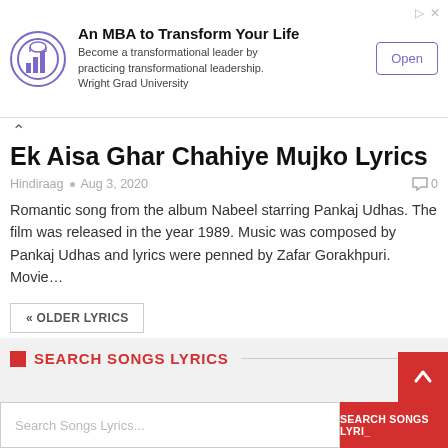[Figure (other): Advertisement banner: Wright Grad University MBA ad with circular logo, text 'An MBA to Transform Your Life', 'Become a transformational leader by practicing transformational leadership. Wright Grad University', and an 'Open' button.]
Ek Aisa Ghar Chahiye Mujko Lyrics
Hindiraag • Aug 3, 2020   0
Romantic song from the album Nabeel starring Pankaj Udhas. The film was released in the year 1989. Music was composed by Pankaj Udhas and lyrics were penned by Zafar Gorakhpuri. Movie…
« OLDER LYRICS
SEARCH SONGS LYRICS
Search Songs Lyrics...
SEARCH SONGS LYRI_